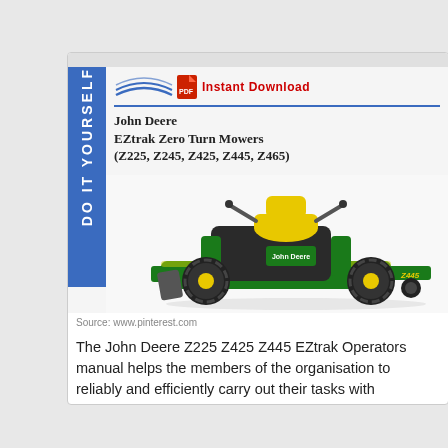[Figure (photo): John Deere EZtrak Zero Turn Mower manual cover image showing the mower (Z225, Z245, Z425, Z445, Z465) with blue vertical sidebar reading 'DO IT YOURSELF', an Instant Download badge with PDF icon, and the manual title. Below is a photo of a John Deere zero-turn mower with yellow seat and green body.]
Source: www.pinterest.com
The John Deere Z225 Z425 Z445 EZtrak Operators manual helps the members of the organisation to reliably and efficiently carry out their tasks with